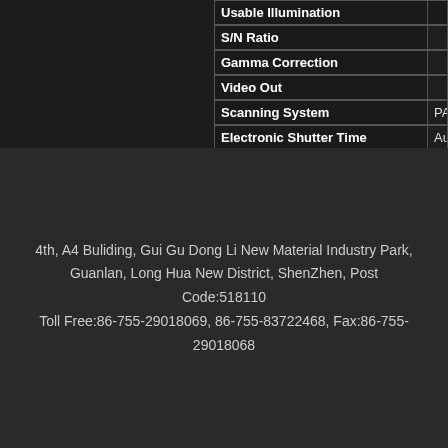| Specification | Value |
| --- | --- |
| Usable Illumination |  |
| S/N Ratio |  |
| Gamma Correction |  |
| Video Out |  |
| Scanning System | PAL:6... |
| Electronic Shutter Time | Auto... |
| Operation  Temperature |  |
| Storage  Temperature |  |
| White Balance |  |
| Power Source |  |
| Dimension |  |
| Package |  |
| Weight |  |
4th, A4 Buliding, Gui Gu Dong Li New Material Industry Park, Guanlan, Long Hua New District, ShenZhen, Post Code:518110
Toll Free:86-755-29018069, 86-755-83722468, Fax:86-755-29018068